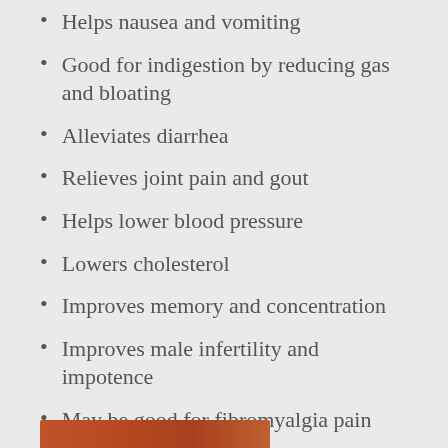Helps nausea and vomiting
Good for indigestion by reducing gas and bloating
Alleviates diarrhea
Relieves joint pain and gout
Helps lower blood pressure
Lowers cholesterol
Improves memory and concentration
Improves male infertility and impotence
May be good for fibromyalgia pain
STAR ANISE
[Figure (photo): Partial image of star anise visible at bottom of page]